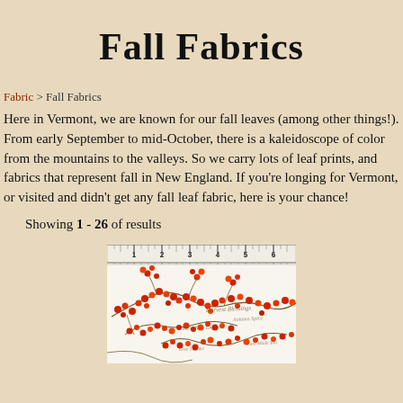Fall Fabrics
Fabric > Fall Fabrics
Here in Vermont, we are known for our fall leaves (among other things!). From early September to mid-October, there is a kaleidoscope of color from the mountains to the valleys. So we carry lots of leaf prints, and fabrics that represent fall in New England. If you're longing for Vermont, or visited and didn't get any fall leaf fabric, here is your chance!
Showing 1 - 26 of results
[Figure (photo): Fabric sample showing red/orange berry branches with cursive text on white background, shown with a ruler measuring 1-6 inches at the top]